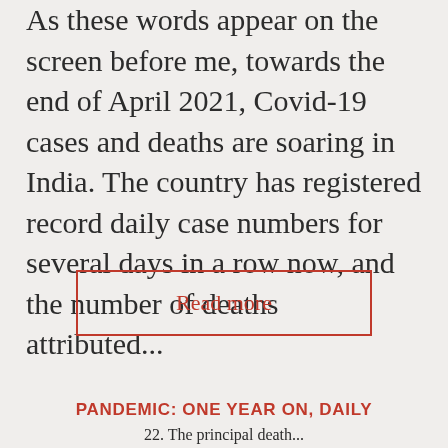As these words appear on the screen before me, towards the end of April 2021, Covid-19 cases and deaths are soaring in India. The country has registered record daily case numbers for several days in a row now, and the number of deaths attributed...
Read more
PANDEMIC: ONE YEAR ON, DAILY
22. The principal death...